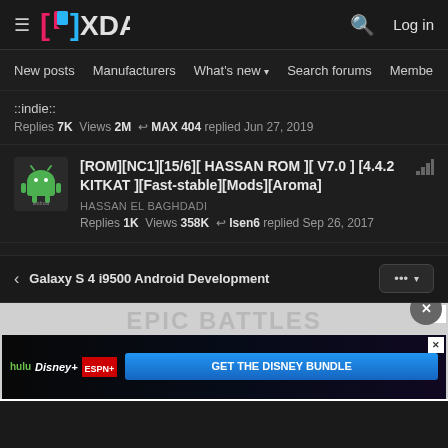XDA Developers — Log in
New posts  Manufacturers  What's new  Search forums  Members  >
::indie::
Replies 7K  Views 2M  MAX 404 replied Jun 27, 2019
[ROM][NC1][15/6][ HASSAN ROM ][ V7.0 ] [4.4.2 KITKAT ][Fast-stable][Mods][Aroma]
HASSAN EL BAGHDADI
Replies 1K  Views 358K  Isen6 replied Sep 26, 2017
< Galaxy S 4 i9500 Android Development  ... ▾
[Figure (screenshot): Disney Bundle advertisement: hulu, Disney+, ESPN+, GET THE DISNEY BUNDLE. Incl. Hulu (ad-supported) or Hulu (No Ads). Access content from each service separately. ©2021 Disney and its related entities]